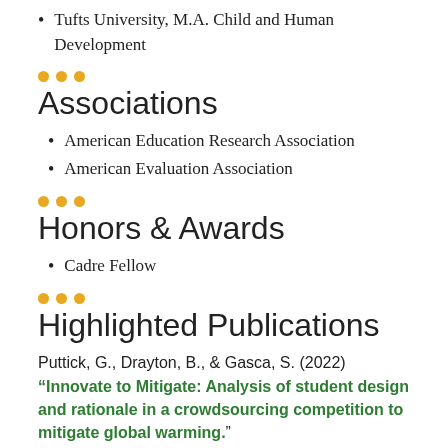Tufts University, M.A. Child and Human Development
Associations
American Education Research Association
American Evaluation Association
Honors & Awards
Cadre Fellow
Highlighted Publications
Puttick, G., Drayton, B., & Gasca, S. (2022) “Innovate to Mitigate: Analysis of student design and rationale in a crowdsourcing competition to mitigate global warming.” International Conference of the Learning